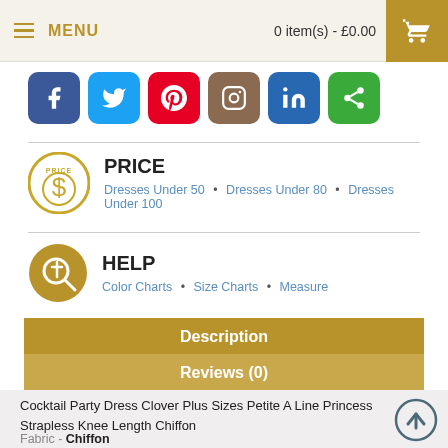MENU | 0 item(s) - £0.00
[Figure (other): Social sharing icons: Facebook, Twitter, Pinterest, Instagram, LinkedIn, Share]
PRICE
Dresses Under 50 • Dresses Under 80 • Dresses Under 100
HELP
Color Charts • Size Charts • Measure
Description
Reviews (0)
Cocktail Party Dress Clover Plus Sizes Petite A Line Princess Strapless Knee Length Chiffon
Fabric - Chiffon
Hemline - Knee Length